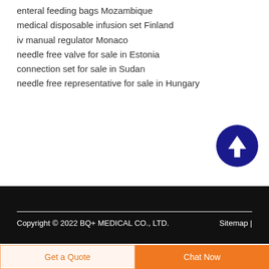enteral feeding bags Mozambique
medical disposable infusion set Finland
iv manual regulator Monaco
needle free valve for sale in Estonia
connection set for sale in Sudan
needle free representative for sale in Hungary
[Figure (other): Dark blue circle button with white upward arrow icon (scroll to top button)]
Copyright © 2022 BQ+ MEDICAL CO., LTD.    Sitemap |
Get a Quote
Chat Now